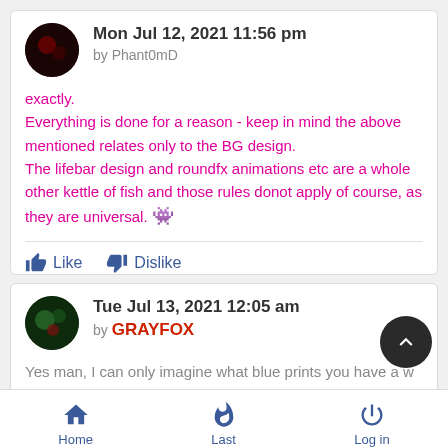Mon Jul 12, 2021 11:56 pm by Phant0mD
exactly.
Everything is done for a reason - keep in mind the above mentioned relates only to the BG design.
The lifebar design and roundfx animations etc are a whole other kettle of fish and those rules donot apply of course, as they are universal. 👾
Like  Dislike
Tue Jul 13, 2021 12:05 am by GRAYFOX
Yes man, I can only imagine what blue prints you have a w back up in the temple. Lol I that will be the, fruits I will looking to